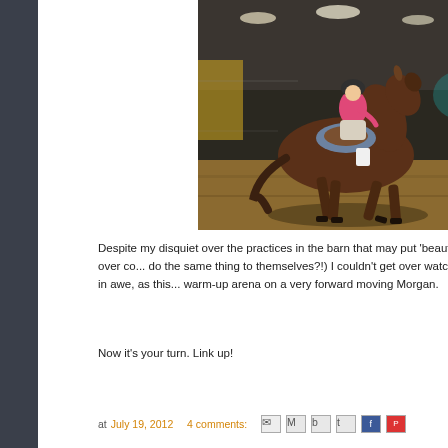[Figure (photo): A rider in a pink top and helmet on a dark bay horse galloping in an indoor arena, motion blur in background]
Despite my disquiet over the practices in the barn that may put 'beauty' over co... do the same thing to themselves?!) I couldn't get over watching, in awe, as this... warm-up arena on a very forward moving Morgan.
Now it's your turn. Link up!
at July 19, 2012   4 comments: